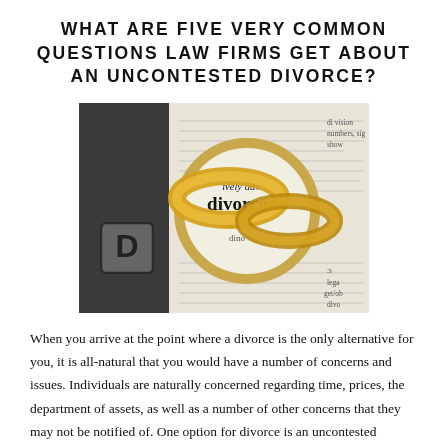WHAT ARE FIVE VERY COMMON QUESTIONS LAW FIRMS GET ABOUT AN UNCONTESTED DIVORCE?
[Figure (photo): Photo of two gold wedding rings resting on a dictionary page showing the word 'divorce' magnified through a lens, with a dark keyboard or book in the background]
When you arrive at the point where a divorce is the only alternative for you, it is all-natural that you would have a number of concerns and issues. Individuals are naturally concerned regarding time, prices, the department of assets, as well as a number of other concerns that they may not be notified of. One option for divorce is an uncontested divorce, which is where couples remain in arrangement pertaining to